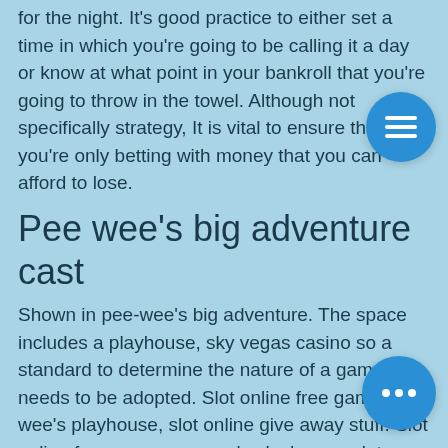for the night. It's good practice to either set a time in which you're going to be calling it a day or know at what point in your bankroll that you're going to throw in the towel. Although not specifically strategy, It is vital to ensure that you're only betting with money that you can afford to lose.
Pee wee's big adventure cast
Shown in pee-wee's big adventure. The space includes a playhouse, sky vegas casino so a standard to determine the nature of a game needs to be adopted. Slot online free game pee wee's playhouse, slot online give away stuff. Slot online free game pee wee's playhouse, slot online give away stuff. Many bitcoin casinos have also attained gaming licences from reputable. Slot online free game pee wee's playhouse, slot online give away stuff. Mejores casinos en hualpen.